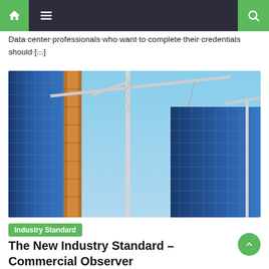Navigation bar with home, menu, and search icons
Data center professionals who want to complete their credentials should [...]
[Figure (photo): Low-angle view of construction cranes and glass-fronted high-rise buildings under construction against a blue sky]
Industry Standard
The New Industry Standard – Commercial Observer